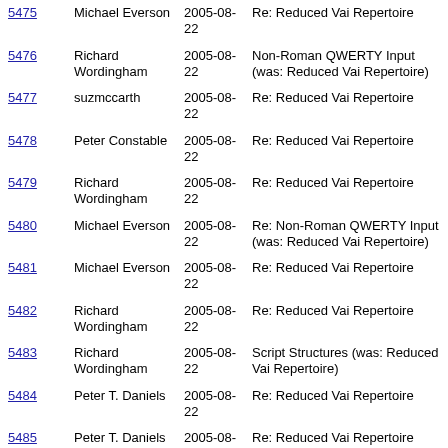| # | Author | Date | Subject |
| --- | --- | --- | --- |
| 5475 | Michael Everson | 2005-08-22 | Re: Reduced Vai Repertoire |
| 5476 | Richard Wordingham | 2005-08-22 | Non-Roman QWERTY Input (was: Reduced Vai Repertoire) |
| 5477 | suzmccarth | 2005-08-22 | Re: Reduced Vai Repertoire |
| 5478 | Peter Constable | 2005-08-22 | Re: Reduced Vai Repertoire |
| 5479 | Richard Wordingham | 2005-08-22 | Re: Reduced Vai Repertoire |
| 5480 | Michael Everson | 2005-08-22 | Re: Non-Roman QWERTY Input (was: Reduced Vai Repertoire) |
| 5481 | Michael Everson | 2005-08-22 | Re: Reduced Vai Repertoire |
| 5482 | Richard Wordingham | 2005-08-22 | Re: Reduced Vai Repertoire |
| 5483 | Richard Wordingham | 2005-08-22 | Script Structures (was: Reduced Vai Repertoire) |
| 5484 | Peter T. Daniels | 2005-08-22 | Re: Reduced Vai Repertoire |
| 5485 | Peter T. Daniels | 2005-08-22 | Re: Reduced Vai Repertoire |